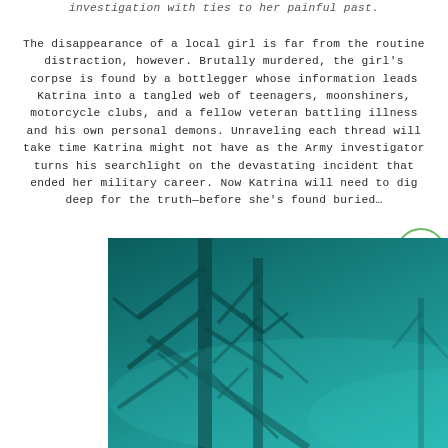investigation with ties to her painful past.
The disappearance of a local girl is far from the routine distraction, however. Brutally murdered, the girl's corpse is found by a bottlegger whose information leads Katrina into a tangled web of teenagers, moonshiners, motorcycle clubs, and a fellow veteran battling illness and his own personal demons. Unraveling each thread will take time Katrina might not have as the Army investigator turns his searchlight on the devastating incident that ended her military career. Now Katrina will need to dig deep for the truth—before she's found buried…
[Figure (photo): Misty forest scene with tall pine trees in deep teal/cyan tones. An 'UNDERGROUND' logo with a guitar-like icon is visible in the upper right of the image.]